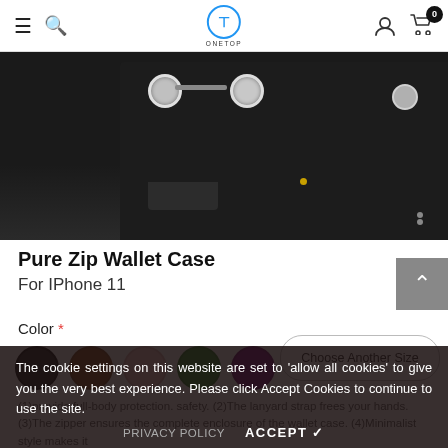ONETOP — navigation bar with hamburger, search, logo, user, cart (0)
[Figure (photo): Close-up of a black leather Pure Zip Wallet Case for iPhone 11, showing zipper and snap button hardware details]
Pure Zip Wallet Case
For IPhone 11
Color *
[Figure (other): Five color swatches: black, brown, pink, green, purple]
Choose Another Size
The cookie settings on this website are set to 'allow all cookies' to give you the very best experience. Please click Accept Cookies to continue to use the site.
(1) provide full-body protection. safety. (2) The lanyard strap frees your hands. (3)The zipper ensures the complete enclosure of the wallet case. (4)Minimalist style makes it
PRIVACY POLICY   ACCEPT ✓